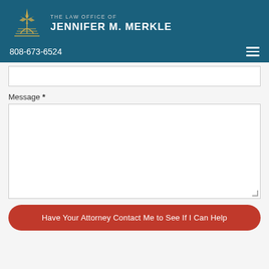[Figure (logo): The Law Office of Jennifer M. Merkle logo with geometric star/compass icon in gold on teal background]
808-673-6524
Message *
Have Your Attorney Contact Me to See If I Can Help